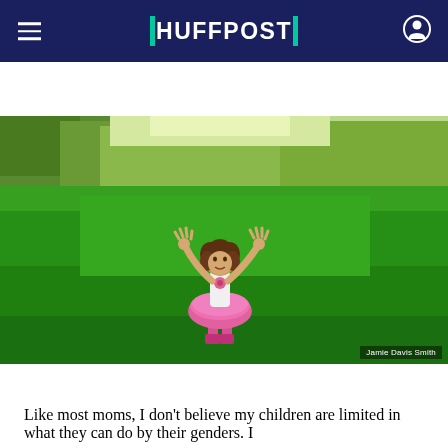HUFFPOST
[Figure (photo): A young girl in a pink tutu dress and pink boots stands on a bright green lawn with arms raised up toward the sky, looking up joyfully. Photo credit: Jamie Davis Smith]
Jamie Davis Smith
Like most moms, I don't believe my children are limited in what they can do by their genders. I